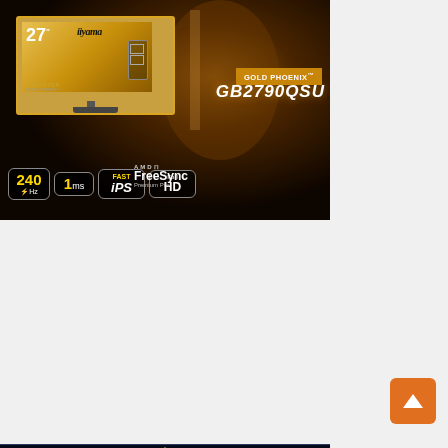[Figure (photo): iiyama G-Master Gold Phoenix GB2790QSU gaming monitor advertisement. Shows 27" monitor with golden warrior background. Features badges: 240Hz, 1ms, Fast IPS, Full HD, AMD FreeSync Premium Pro.]
[Figure (photo): AGON by AOC AG275QXL gaming monitor advertisement featuring League of Legends branding. Shows three monitors with colored RGB lighting (red, yellow, blue). Text: 'The first monitor ever crafted for League of Legends fans'. Model: AG275QXL. Hashtag: #LightsOnLeague.]